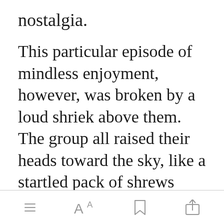nostalgia.
This particular episode of mindless enjoyment, however, was broken by a loud shriek above them. The group all raised their heads toward the sky, like a startled pack of shrews under the eye of a greatly winged bird, they then burst into a hysterically loud laugh.
[Figure (screenshot): Green 'Open in app' button]
[Figure (infographic): Bottom toolbar with menu, font size, bookmark, and share icons]